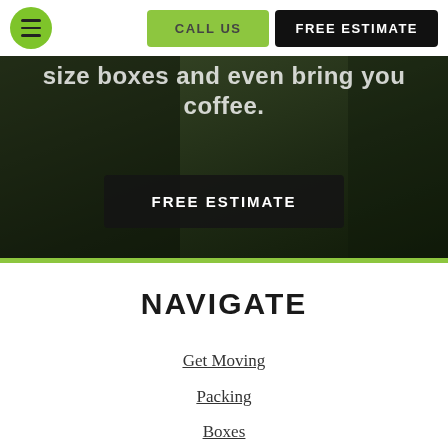CALL US | FREE ESTIMATE
[Figure (screenshot): Hero image background with dark green overlay showing partial text 'size boxes and even bring you coffee.' and a FREE ESTIMATE button]
NAVIGATE
Get Moving
Packing
Boxes
Tips
Q&A